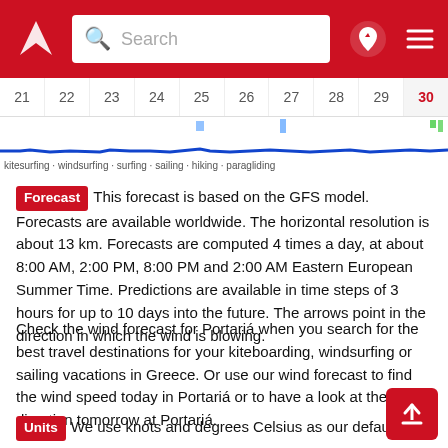Windy.com header with search bar
[Figure (screenshot): Date navigation bar showing days 21–30 with a wind chart strip below showing blue line across dates, and activity tags: kitesurfing, windsurfing, surfing, sailing, hiking, paragliding]
Forecast  This forecast is based on the GFS model. Forecasts are available worldwide. The horizontal resolution is about 13 km. Forecasts are computed 4 times a day, at about 8:00 AM, 2:00 PM, 8:00 PM and 2:00 AM Eastern European Summer Time. Predictions are available in time steps of 3 hours for up to 10 days into the future. The arrows point in the direction in which the wind is blowing.
Check the wind forecast for Portariá when you search for the best travel destinations for your kiteboarding, windsurfing or sailing vacations in Greece. Or use our wind forecast to find the wind speed today in Portariá or to have a look at the wind direction tomorrow at Portariá.
Units  We use knots and degrees Celsius as our default units. These units are often used by sailors, kiters, surfers, windsurfers